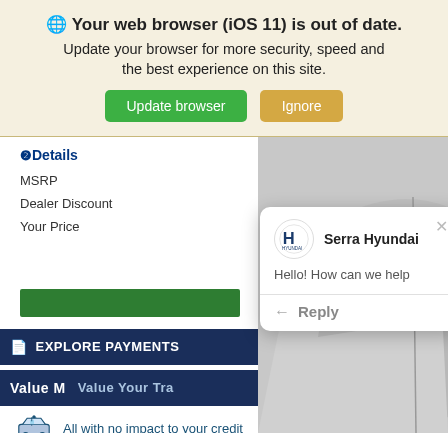[Figure (screenshot): Browser out-of-date warning banner for iOS 11 with Update browser (green) and Ignore (tan) buttons]
Details
MSRP
Dealer Discount
Your Price
[Figure (screenshot): Serra Hyundai chat popup with Hyundai logo, 'Hello! How can we help' message and Reply button, overlaid on dealership website]
EXPLORE PAYMENTS
Value M
Value Your Tra
All with no impact to your credit